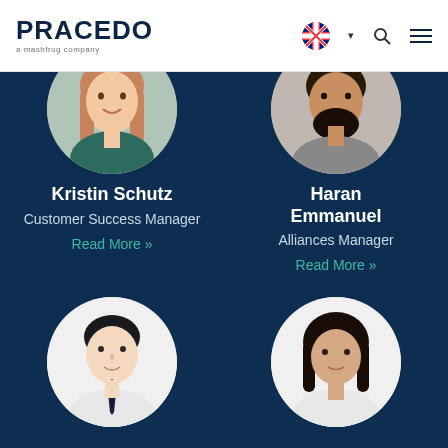[Figure (logo): Pracedo logo with text 'a mashfrog company' below]
[Figure (photo): Kristin Schutz headshot, woman with long brown hair, circular crop]
Kristin Schutz
Customer Success Manager
Read More »
[Figure (photo): Haran Emmanuel headshot, man with beard, circular crop]
Haran Emmanuel
Alliances Manager
Read More »
[Figure (photo): Young man in white shirt and dark tie, circular crop]
[Figure (photo): Woman with dark short hair and white top, circular crop]